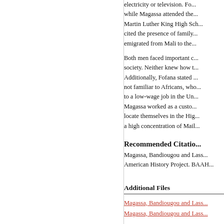electricity or television. Fo... while Magassa attended the... Martin Luther King High Sch... cited the presence of family... emigrated from Mali to the...
Both men faced important c... society. Neither knew how t... Additionally, Fofana stated ... not familiar to Africans, who... to a low-wage job in the Un... Magassa worked as a custo... locate themselves in the Hig... a high concentration of Mail...
Recommended Citation
Magassa, Bandiougou and Lass... American History Project. BAAH...
Additional Files
Magassa, Bandiougou and Lass...
Magassa, Bandiougou and Lass...